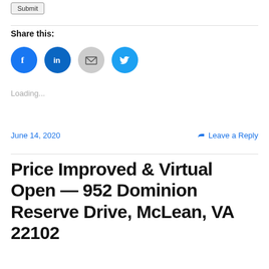Submit
Share this:
[Figure (other): Social share icons: Facebook (blue circle), LinkedIn (blue circle), Email (gray circle), Twitter (cyan circle)]
Loading...
June 14, 2020
Leave a Reply
Price Improved & Virtual Open — 952 Dominion Reserve Drive, McLean, VA 22102